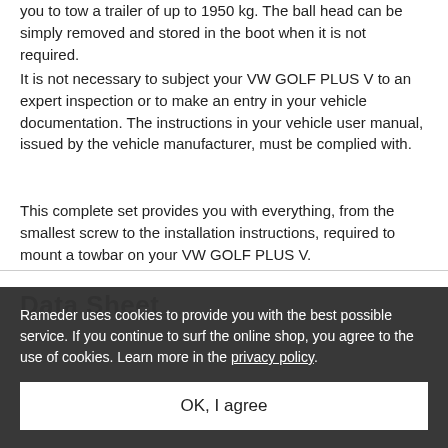you to tow a trailer of up to 1950 kg. The ball head can be simply removed and stored in the boot when it is not required.
It is not necessary to subject your VW GOLF PLUS V to an expert inspection or to make an entry in your vehicle documentation. The instructions in your vehicle user manual, issued by the vehicle manufacturer, must be complied with.
This complete set provides you with everything, from the smallest screw to the installation instructions, required to mount a towbar on your VW GOLF PLUS V.
Data Sheet
Rameder uses cookies to provide you with the best possible service. If you continue to surf the online shop, you agree to the use of cookies. Learn more in the privacy policy.
OK, I agree